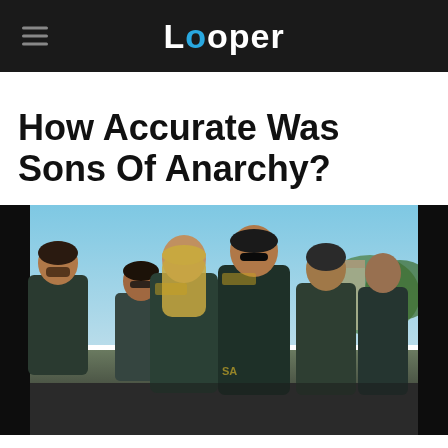Looper
How Accurate Was Sons Of Anarchy?
[Figure (photo): A group of men wearing Sons of Anarchy motorcycle club leather vests and jackets walking together outdoors, in a scene from the TV show Sons of Anarchy.]